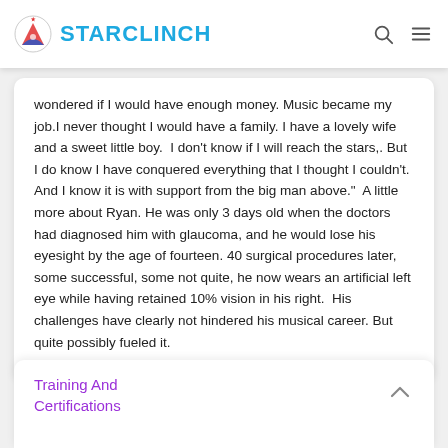STARCLINCH
wondered if I would have enough money. Music became my job.I never thought I would have a family. I have a lovely wife and a sweet little boy.  I don't know if I will reach the stars,. But I do know I have conquered everything that I thought I couldn't. And I know it is with support from the big man above."  A little more about Ryan. He was only 3 days old when the doctors had diagnosed him with glaucoma, and he would lose his eyesight by the age of fourteen. 40 surgical procedures later, some successful, some not quite, he now wears an artificial left eye while having retained 10% vision in his right.  His challenges have clearly not hindered his musical career. But quite possibly fueled it.
Training And Certifications